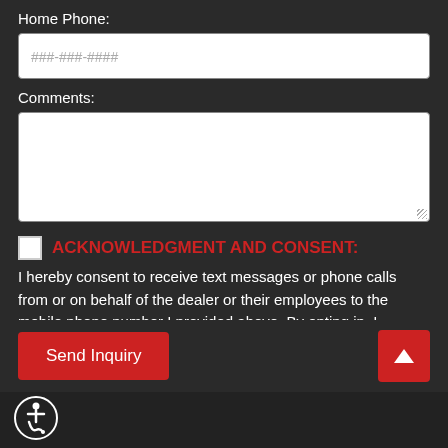Home Phone:
###-###-####
Comments:
ACKNOWLEDGMENT AND CONSENT: I hereby consent to receive text messages or phone calls from or on behalf of the dealer or their employees to the mobile phone number I provided above. By opting in, I understand that message and data rates may apply. This acknowledgement
Send Inquiry